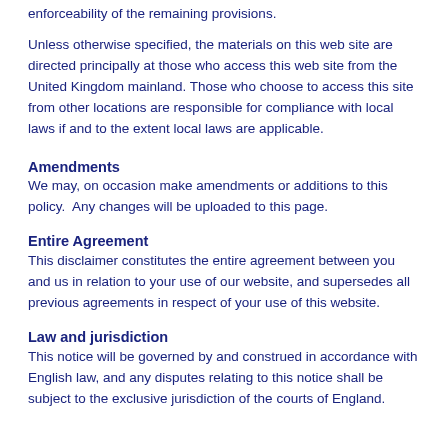enforceability of the remaining provisions.
Unless otherwise specified, the materials on this web site are directed principally at those who access this web site from the United Kingdom mainland. Those who choose to access this site from other locations are responsible for compliance with local laws if and to the extent local laws are applicable.
Amendments
We may, on occasion make amendments or additions to this policy.  Any changes will be uploaded to this page.
Entire Agreement
This disclaimer constitutes the entire agreement between you and us in relation to your use of our website, and supersedes all previous agreements in respect of your use of this website.
Law and jurisdiction
This notice will be governed by and construed in accordance with English law, and any disputes relating to this notice shall be subject to the exclusive jurisdiction of the courts of England.